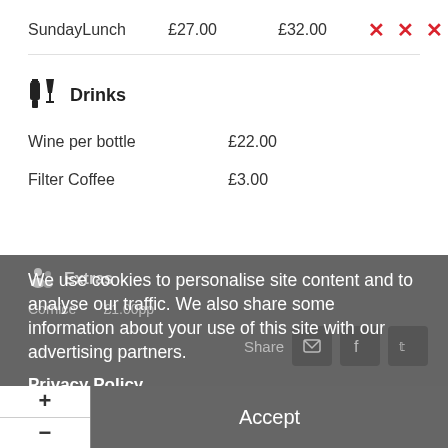SundayLunch   £27.00   £32.00   ✕ ✕ ✕
Drinks
Wine per bottle   £22.00
Filter Coffee   £3.00
Extras
We use cookies to personalise site content and to analyse our traffic. We also share some information about your use of this site with our advertising partners.
Privacy Policy
Accept